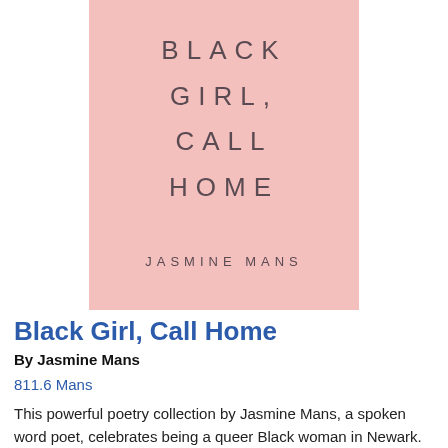[Figure (illustration): Book cover of 'Black Girl, Call Home' by Jasmine Mans. Pink background with the title in spaced light gray letters and the author's name in smaller spaced letters below.]
Black Girl, Call Home
By Jasmine Mans
811.6 Mans
This powerful poetry collection by Jasmine Mans, a spoken word poet, celebrates being a queer Black woman in Newark. She reflects on